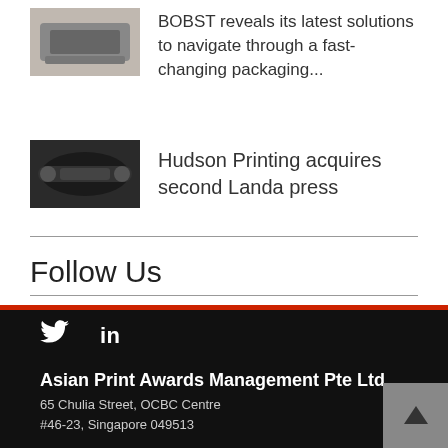[Figure (photo): Thumbnail image of a printing/packaging machine]
BOBST reveals its latest solutions to navigate through a fast-changing packaging...
[Figure (photo): Thumbnail image of a Landa press printing machine]
Hudson Printing acquires second Landa press
Follow Us
[Figure (infographic): Social media icons: Facebook (blue), Twitter (light blue), Google+ (red)]
Asian Print Awards Management Pte Ltd
65 Chulia Street, OCBC Centre
#46-23, Singapore 049513